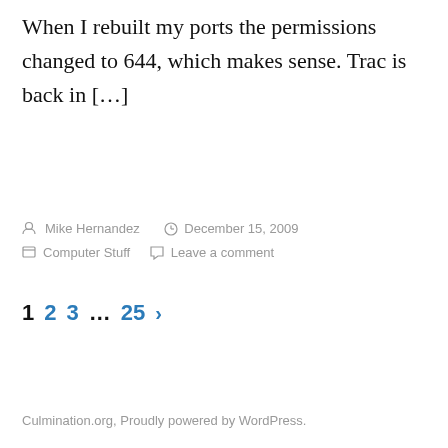When I rebuilt my ports the permissions changed to 644, which makes sense. Trac is back in […]
By Mike Hernandez  December 15, 2009  Computer Stuff  Leave a comment
1  2  3  …  25  ›
Culmination.org, Proudly powered by WordPress.